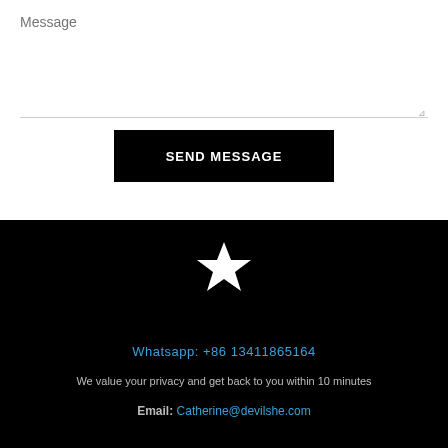Message
SEND MESSAGE
[Figure (illustration): White star icon on black background]
Whatsapp: +86 13411865164
We value your privacy and get back to you within 10 minutes
Email: Catherine@devilshe.com